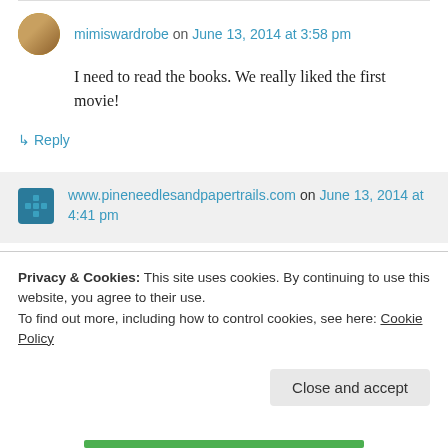mimiswardrobe on June 13, 2014 at 3:58 pm
I need to read the books. We really liked the first movie!
↳ Reply
www.pineneedlesandpapertrails.com on June 13, 2014 at 4:41 pm
Privacy & Cookies: This site uses cookies. By continuing to use this website, you agree to their use.
To find out more, including how to control cookies, see here: Cookie Policy
Close and accept